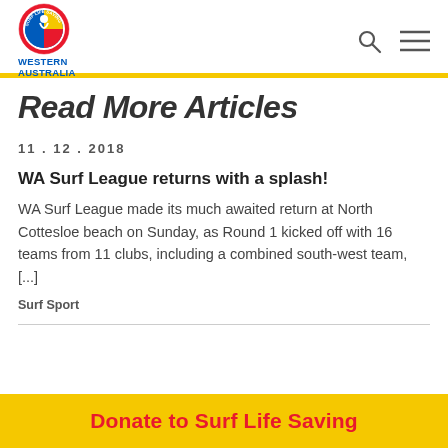Surf Life Saving Western Australia
Read More Articles
11 . 12 . 2018
WA Surf League returns with a splash!
WA Surf League made its much awaited return at North Cottesloe beach on Sunday, as Round 1 kicked off with 16 teams from 11 clubs, including a combined south-west team, [...]
Surf Sport
Donate to Surf Life Saving